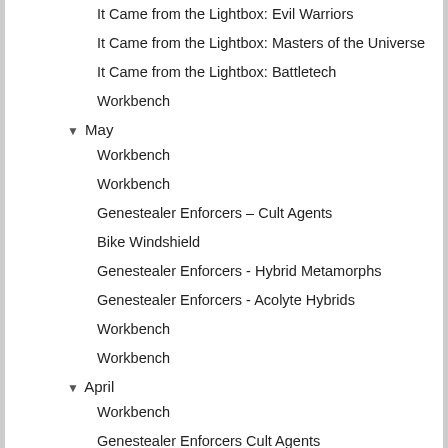It Came from the Lightbox: Evil Warriors
It Came from the Lightbox: Masters of the Universe
It Came from the Lightbox: Battletech
Workbench
▼ May
Workbench
Workbench
Genestealer Enforcers – Cult Agents
Bike Windshield
Genestealer Enforcers - Hybrid Metamorphs
Genestealer Enforcers - Acolyte Hybrids
Workbench
Workbench
▼ April
Workbench
Genestealer Enforcers Cult Agents
Genestealer Enforcers Progress
Genestealer Enforcer Progress